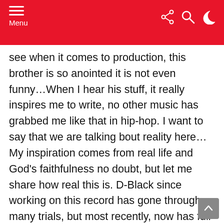Menu
see when it comes to production, this brother is so anointed it is not even funny…When I hear his stuff, it really inspires me to write, no other music has grabbed me like that in hip-hop. I want to say that we are talking bout reality here…My inspiration comes from real life and God's faithfulness no doubt, but let me share how real this is. D-Black since working on this record has gone through many trials, but most recently, now has full blown cancer…You see this is real stuff, not about just doing some beats and making me a star…No, this is real life and he needs a miracle and I pray that you would visit his website at http://www.dblackmusic.com and help him out if you